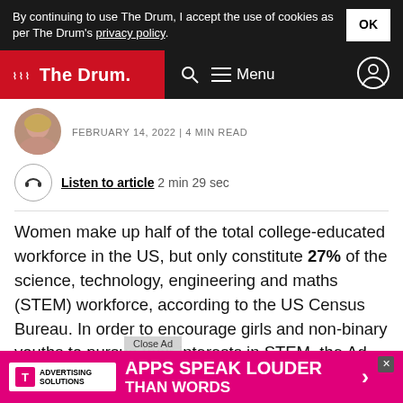By continuing to use The Drum, I accept the use of cookies as per The Drum's privacy policy.
The Drum — Navigation bar
FEBRUARY 14, 2022 | 4 MIN READ
Listen to article  2 min 29 sec
Women make up half of the total college-educated workforce in the US, but only constitute 27% of the science, technology, engineering and maths (STEM) workforce, according to the US Census Bureau. In order to encourage girls and non-binary youths to pursue their interests in STEM, the Ad Council has launched a PSA, joining the creators of NBC
[Figure (other): T-Mobile Advertising Solutions banner ad: APPS SPEAK LOUDER THAN WORDS]